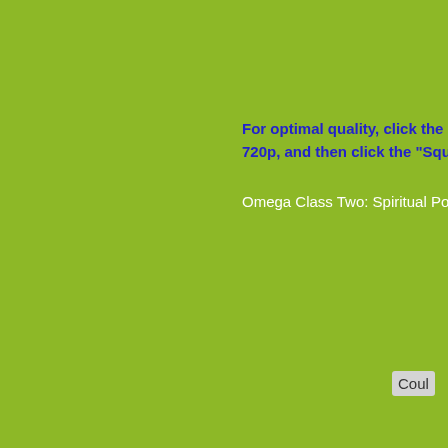For optimal quality, click the "Play" button, select 720p, and then click the "Square"
Omega Class Two: Spiritual Politics
Coul